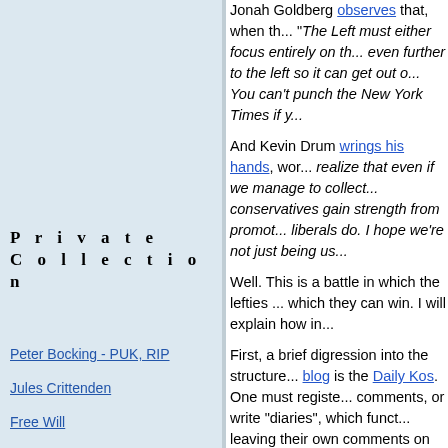Jonah Goldberg observes that, when th... "The Left must either focus entirely on th... even further to the left so it can get out o... You can't punch the New York Times if y...
And Kevin Drum wrings his hands, wor... realize that even if we manage to collect... conservatives gain strength from promot... liberals do. I hope we're not just being us...
Well. This is a battle in which the lefties... which they can win. I will explain how in...
First, a brief digression into the structure... blog is the Daily Kos. One must registe... comments, or write "diaries", which funct... leaving their own comments on other blo... to move them up the in-house rankings a... So, for a member, the hours can be while... in Kos World.
But it is a separate world. Having casua... Gannon hunt, it is clear that they can sur... and talent to a particular task. However,... groupthink, and a weakness in gathering...
Private Collection
Peter Bocking - PUK, RIP
Jules Crittenden
Free Will